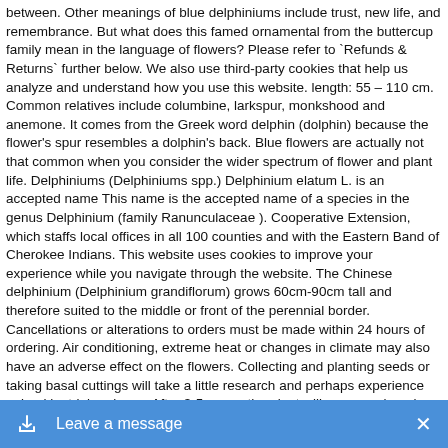between. Other meanings of blue delphiniums include trust, new life, and remembrance. But what does this famed ornamental from the buttercup family mean in the language of flowers? Please refer to `Refunds & Returns` further below. We also use third-party cookies that help us analyze and understand how you use this website. length: 55 – 110 cm. Common relatives include columbine, larkspur, monkshood and anemone. It comes from the Greek word delphin (dolphin) because the flower's spur resembles a dolphin's back. Blue flowers are actually not that common when you consider the wider spectrum of flower and plant life. Delphiniums (Delphiniums spp.) Delphinium elatum L. is an accepted name This name is the accepted name of a species in the genus Delphinium (family Ranunculaceae ). Cooperative Extension, which staffs local offices in all 100 counties and with the Eastern Band of Cherokee Indians. This website uses cookies to improve your experience while you navigate through the website. The Chinese delphinium (Delphinium grandiflorum) grows 60cm-90cm tall and therefore suited to the middle or front of the perennial border. Cancellations or alterations to orders must be made within 24 hours of ordering. Air conditioning, extreme heat or changes in climate may also have an adverse effect on the flowers. Collecting and planting seeds or taking basal cuttings will take a little research and perhaps experience gained by trial and error After 3-5 years, the plant will grow weak and could die quickly. Useful kit... Stakes. The High Line in NYC will Reopen on July 16! Gorgeous spires of bright blue are stand outs in the garden. Delphinium flowers typically last between 7 to 14 days, depending on care and handling practices. are short-lived perennials, while larkspurs (Consolida ambigua) are annuals. Edwards's Botanical Register (vol. Delphinium flowers further represent innocence and tenderness, which boils down to their delicate and sensitive nature. Available in solid colors; Used alone is a show by itself; Single flower; Long lasting vase life; More blooms per stem The Chinese delphinium (Delphinium grandiflorum) grows 2… as an accent in the middle or front of the perennial…